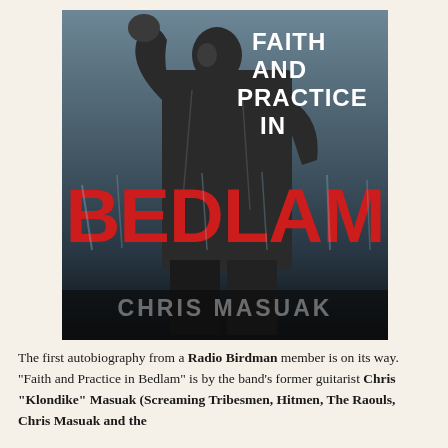[Figure (photo): Book cover of 'Faith and Practice in Bedlam' by Chris Masuak. Features a black and white photo of a person in a denim jacket with hand raised, against a blue-grey toned background. Large red distressed text reads 'BEDLAM' in the center. White bold text reads 'FAITH AND PRACTICE IN' in the upper right. Author name 'CHRIS MASUAK' in large white bold text at the bottom.]
The first autobiography from a Radio Birdman member is on its way. "Faith and Practice in Bedlam" is by the band's former guitarist Chris "Klondike" Masuak (Screaming Tribesmen, Hitmen, The Raouls, Chris Masuak and the